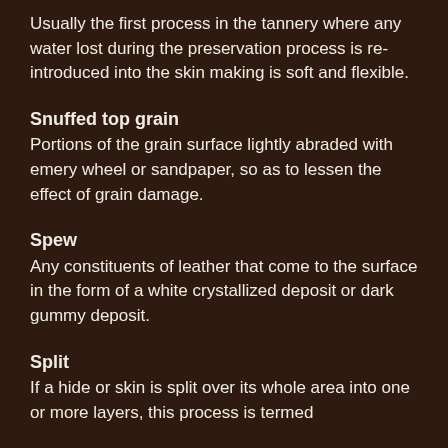Usually the first process in the tannery where any water lost during the preservation process is re-introduced into the skin making is soft and flexible.
Snuffed top grain
Portions of the grain surface lightly abraded with emery wheel or sandpaper, so as to lessen the effect of grain damage.
Spew
Any constituents of leather that come to the surface in the form of a white crystallized deposit or dark gummy deposit.
Split
If a hide or skin is split over its whole area into one or more layers, this process is termed